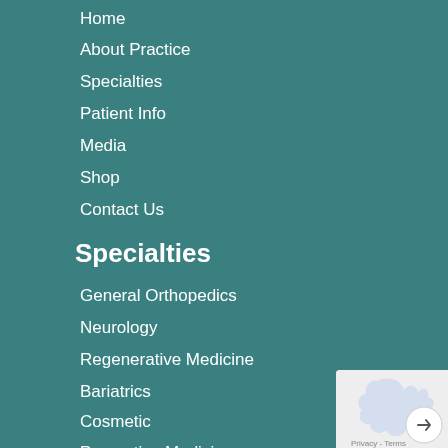Home
About Practice
Specialties
Patient Info
Media
Shop
Contact Us
Specialties
General Orthopedics
Neurology
Regenerative Medicine
Bariatrics
Cosmetic
Preventive Medicine